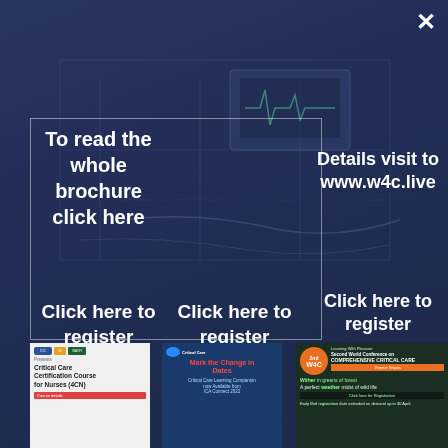[Figure (screenshot): Dark blue overlay on ICU medical equipment background with a popup/modal containing navigation links and thumbnail images for medical conference materials]
To read the whole brochure click here
Click here to register
Click here to register
Details visit to www.w4c.live
Click here to register
Critical Care Certification Course for Nurses (4CN)
Mark the Change in Dates - Critical Care Learning Companion now Available from ICA Connect 2022
2nd W4C Second World Conference on COMPREHENSIVE CRITICAL CARE - Theme: Sepsis